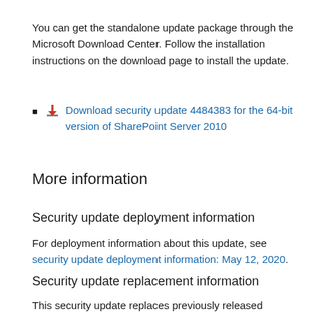You can get the standalone update package through the Microsoft Download Center. Follow the installation instructions on the download page to install the update.
Download security update 4484383 for the 64-bit version of SharePoint Server 2010
More information
Security update deployment information
For deployment information about this update, see security update deployment information: May 12, 2020.
Security update replacement information
This security update replaces previously released security update 4484297.